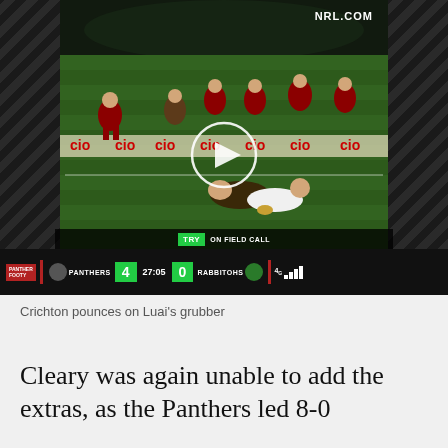[Figure (screenshot): NRL.COM video screenshot showing a rugby league try being scored. Panthers player diving over the line contested by Rabbitohs player. Score overlay shows PANTHERS 4 - 27:05 - RABBITOHS 0, with TRY ON FIELD CALL indicator. NRL.COM watermark in top right.]
Crichton pounces on Luai's grubber
Cleary was again unable to add the extras, as the Panthers led 8-0